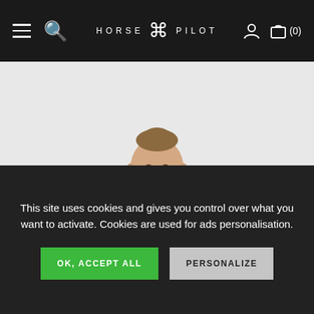HORSE PILOT — Navigation bar with hamburger menu, search icon, logo, user icon, cart (0)
[Figure (photo): A woman smiling, wearing a dark equestrian jacket with white collar, against a light grey background. Only the upper body and head are visible.]
This site uses cookies and gives you control over what you want to activate. Cookies are used for ads personalisation.
OK, ACCEPT ALL
PERSONALIZE